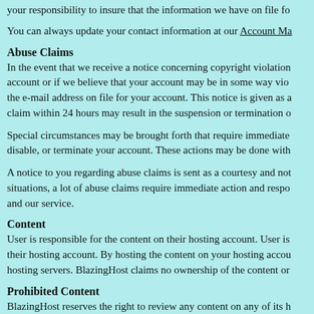your responsibility to insure that the information we have on file fo
You can always update your contact information at our Account Ma
Abuse Claims
In the event that we receive a notice concerning copyright violation account or if we believe that your account may be in some way vio the e-mail address on file for your account. This notice is given as a claim within 24 hours may result in the suspension or termination o
Special circumstances may be brought forth that require immediate disable, or terminate your account. These actions may be done with
A notice to you regarding abuse claims is sent as a courtesy and not situations, a lot of abuse claims require immediate action and respo and our service.
Content
User is responsible for the content on their hosting account. User is their hosting account. By hosting the content on your hosting accou hosting servers. BlazingHost claims no ownership of the content or
Prohibited Content
BlazingHost reserves the right to review any content on any of its h hosting account that violates these terms of service your account m